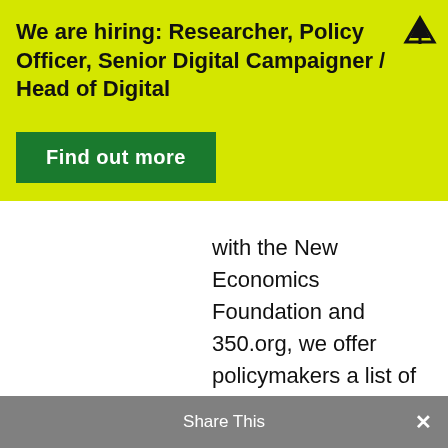We are hiring: Researcher, Policy Officer, Senior Digital Campaigner / Head of Digital
Find out more
with the New Economics Foundation and 350.org, we offer policymakers a list of recommendations that, if implemented by the ECB, would constitute a successful strategic review from a climate justice
Share This ✕